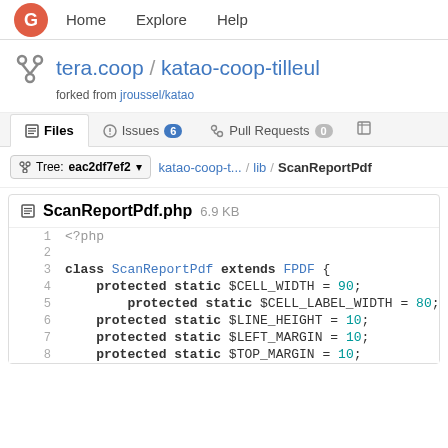Home   Explore   Help
tera.coop / katao-coop-tilleul
forked from jroussel/katao
Files  Issues 6  Pull Requests 0
Tree: eac2df7ef2  katao-coop-t... / lib / ScanReportPdf
ScanReportPdf.php 6.9 KB
1  <?php
2
3  class ScanReportPdf extends FPDF {
4      protected static $CELL_WIDTH = 90;
5          protected static $CELL_LABEL_WIDTH = 80;
6      protected static $LINE_HEIGHT = 10;
7      protected static $LEFT_MARGIN = 10;
8      protected static $TOP_MARGIN = 10;